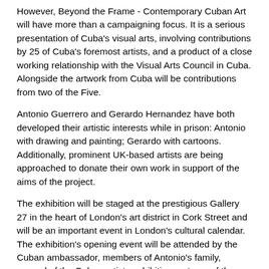However, Beyond the Frame - Contemporary Cuban Art will have more than a campaigning focus. It is a serious presentation of Cuba's visual arts, involving contributions by 25 of Cuba's foremost artists, and a product of a close working relationship with the Visual Arts Council in Cuba. Alongside the artwork from Cuba will be contributions from two of the Five.
Antonio Guerrero and Gerardo Hernandez have both developed their artistic interests while in prison: Antonio with drawing and painting; Gerardo with cartoons. Additionally, prominent UK-based artists are being approached to donate their own work in support of the aims of the project.
The exhibition will be staged at the prestigious Gallery 27 in the heart of London's art district in Cork Street and will be an important event in London's cultural calendar. The exhibition's opening event will be attended by the Cuban ambassador, members of Antonio's family, several of the Cuban artists exhibiting, patrons of the exhibition, as well as other important guests.
The majority of those exhibiting from Cuba are well established on the international art scene, although a number of them have never exhibited in the UK.
The 25 include Manuel Mendive, a past exhibitor in the UK who has been described as the most important artist practicing in Cuba today. Another is Alexis Leyva (Kcho), an artist and National Assembly member, who has treated the theme of